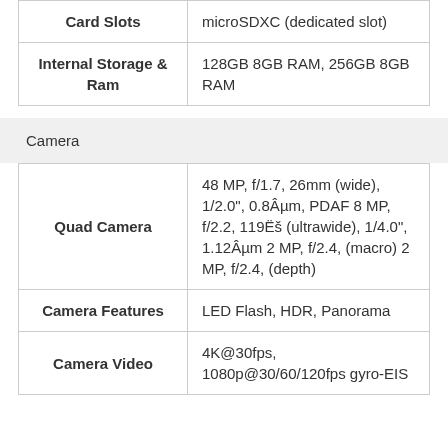| Card Slots | microSDXC (dedicated slot) |
| Internal Storage & Ram | 128GB 8GB RAM, 256GB 8GB RAM |
Camera
| Quad Camera | 48 MP, f/1.7, 26mm (wide), 1/2.0", 0.8Âµm, PDAF 8 MP, f/2.2, 119Ëš (ultrawide), 1/4.0", 1.12Âµm 2 MP, f/2.4, (macro) 2 MP, f/2.4, (depth) |
| Camera Features | LED Flash, HDR, Panorama |
| Camera Video | 4K@30fps, 1080p@30/60/120fps gyro-EIS |